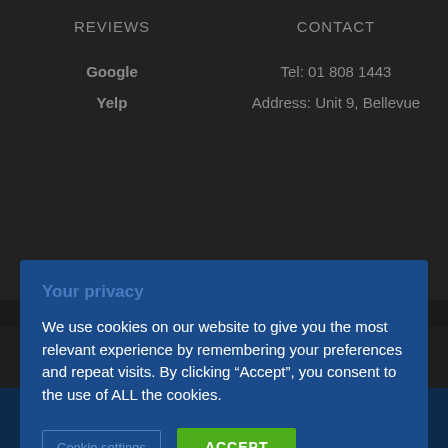REVIEWS
CONTACT
Google
Tel: 01 808 1443
Yelp
Address: Unit 9, Bellevue
Your privacy
We use cookies on our website to give you the most relevant experience by remembering your preferences and repeat visits. By clicking “Accept”, you consent to the use of ALL the cookies.
Cookie settings   ACCEPT
Copyright 2016-2022 Mechanic 24hr - Car Service & Repairs | All Rights Reserved - Built by TheWebMaster | Hosted on HostComb Servers